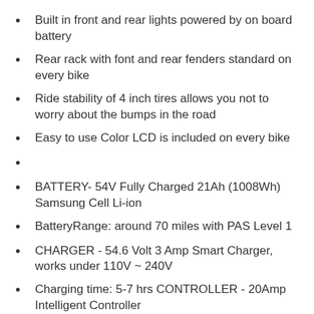Built in front and rear lights powered by on board battery
Rear rack with font and rear fenders standard on every bike
Ride stability of 4 inch tires allows you not to worry about the bumps in the road
Easy to use Color LCD is included on every bike
BATTERY- 54V Fully Charged 21Ah (1008Wh) Samsung Cell Li-ion
BatteryRange: around 70 miles with PAS Level 1
CHARGER - 54.6 Volt 3 Amp Smart Charger, works under 110V ~ 240V
Charging time: 5-7 hrs CONTROLLER - 20Amp Intelligent Controller
DISPLAY - Advanced Color LCD with 5 PAS